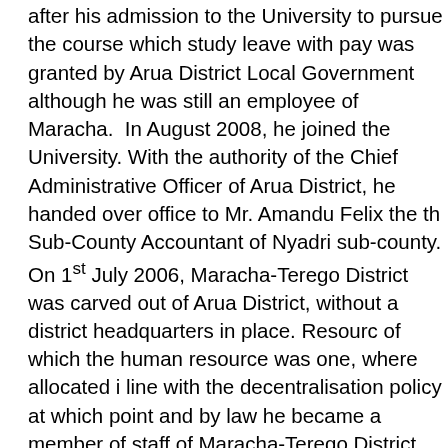after his admission to the University to pursue the course which study leave with pay was granted by Arua District Local Government although he was still an employee of Maracha.  In August 2008, he joined the University. With the authority of the Chief Administrative Officer of Arua District, he handed over office to Mr. Amandu Felix the then Sub-County Accountant of Nyadri sub-county. On 1st July 2006, Maracha-Terego District was carved out of Arua District, without a district headquarters in place. Resources of which the human resource was one, where allocated in line with the decentralisation policy at which point and by law he became a member of staff of Maracha-Terego District Local Government. On 1st July 2010, Maracha became a one County District. Terego County bounced back to Arua District. All this time he was a staff of Maracha District Local Government under the decentralisation policy. His remuneration should have been paid by Maracha District Local Government as evidenced by his salary